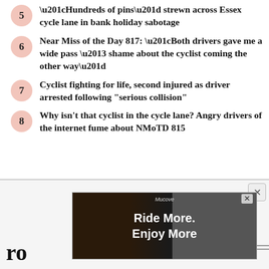"Hundreds of pins" strewn across Essex cycle lane in bank holiday sabotage
Near Miss of the Day 817: "Both drivers gave me a wide pass – shame about the cyclist coming the other way"
Cyclist fighting for life, second injured as driver arrested following "serious collision"
Why isn't that cyclist in the cycle lane? Angry drivers of the internet fume about NMoTD 815
[Figure (screenshot): Advertisement banner: Ride More. Enjoy More cycling product ad with red light and handlebar image]
ro